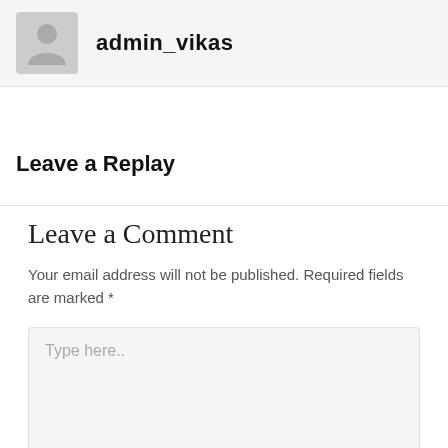admin_vikas
Leave a Replay
Leave a Comment
Your email address will not be published. Required fields are marked *
Type here..